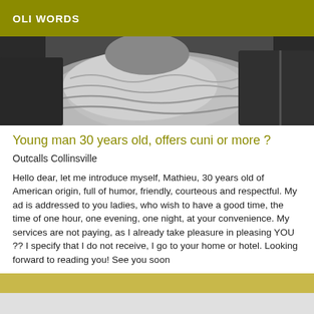OLI WORDS
[Figure (photo): Black and white close-up photo of a gray knitted scarf or cowl, with a leather jacket visible in the background.]
Young man 30 years old, offers cuni or more ?
Outcalls Collinsville
Hello dear, let me introduce myself, Mathieu, 30 years old of American origin, full of humor, friendly, courteous and respectful. My ad is addressed to you ladies, who wish to have a good time, the time of one hour, one evening, one night, at your convenience. My services are not paying, as I already take pleasure in pleasing YOU ?? I specify that I do not receive, I go to your home or hotel. Looking forward to reading you! See you soon